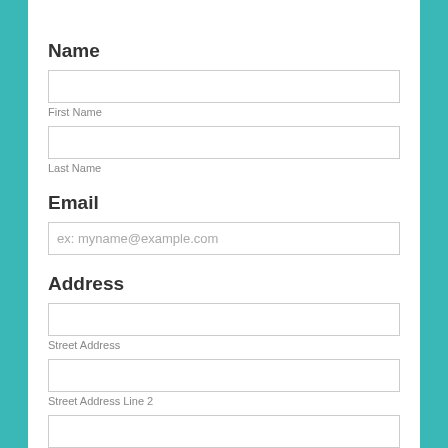Name
First Name
Last Name
Email
ex: myname@example.com
Address
Street Address
Street Address Line 2
City